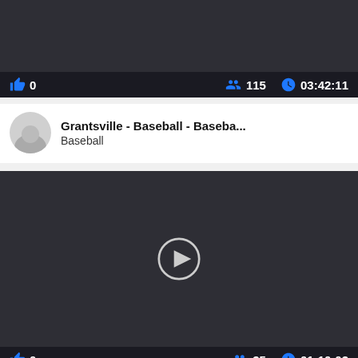[Figure (screenshot): Dark video thumbnail (top, cropped) with bottom bar showing like count 0, viewers 115, duration 03:42:11]
Grantsville - Baseball - Baseba...
Baseball
[Figure (screenshot): Dark video thumbnail with play button in center, bottom bar showing like count 0, viewers 35, duration 01:10:03]
Grantsville - Baseball - Baseba...
Baseball